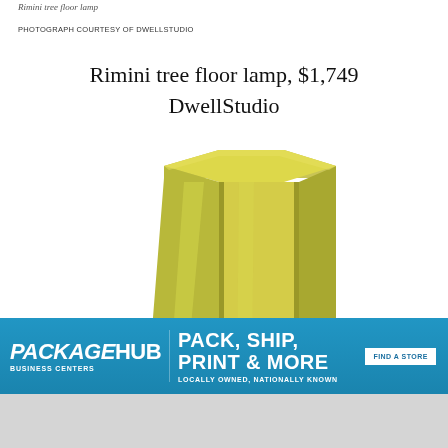Rimini tree floor lamp
PHOTOGRAPH COURTESY OF DWELLSTUDIO
Rimini tree floor lamp, $1,749
DwellStudio
[Figure (photo): Yellow-green hexagonal lamp shade of the Rimini tree floor lamp by DwellStudio, shown close-up against white background]
[Figure (infographic): PackageHub advertisement banner: PACK, SHIP, PRINT & MORE. LOCALLY OWNED, NATIONALLY KNOWN. FIND A STORE button.]